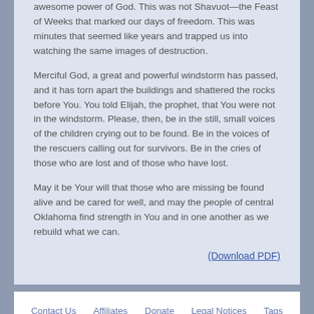awesome power of God. This was not Shavuot—the Feast of Weeks that marked our days of freedom. This was minutes that seemed like years and trapped us into watching the same images of destruction.
Merciful God, a great and powerful windstorm has passed, and it has torn apart the buildings and shattered the rocks before You. You told Elijah, the prophet, that You were not in the windstorm. Please, then, be in the still, small voices of the children crying out to be found. Be in the voices of the rescuers calling out for survivors. Be in the cries of those who are lost and of those who have lost.
May it be Your will that those who are missing be found alive and be cared for well, and may the people of central Oklahoma find strength in You and in one another as we rebuild what we can.
(Download PDF)
Contact Us   Affiliates   Donate   Legal Notices   Tags   Facebook   Twitter   RSS